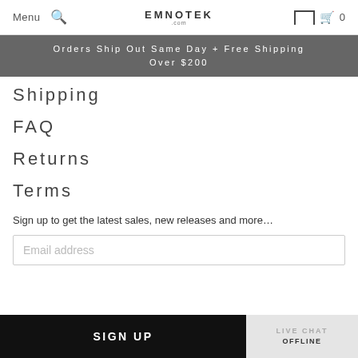Menu | [search] | EMNOTEK | [garage] [cart] 0
Orders Ship Out Same Day + Free Shipping Over $200
Shipping
FAQ
Returns
Terms
Sign up to get the latest sales, new releases and more...
Email address
SIGN UP
LIVE CHAT OFFLINE